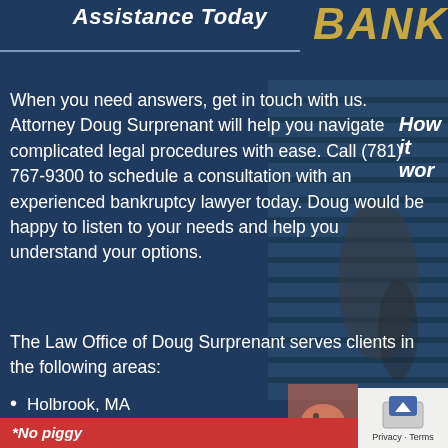Assistance Today
When you need answers, get in touch with us. Attorney Doug Surprenant will help you navigate complicated legal procedures with ease. Call (781) 767-9300 to schedule a consultation with an experienced bankruptcy lawyer today. Doug would be happy to listen to your needs and help you understand your options.
The Law Office of Doug Surprenant serves clients in the following areas:
Holbrook, MA
Randolph, MA
Norfolk County, MA
Plymouth County, MA